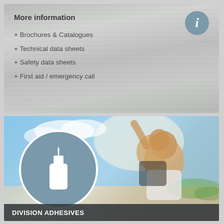More information
+ Brochures & Catalogues
+ Technical data sheets
+ Safety data sheets
+ First aid / emergency call
[Figure (photo): Two happy people outdoors, man giving woman piggyback ride, with a glue bottle icon overlaid in a circular badge]
DIVISION ADHESIVES